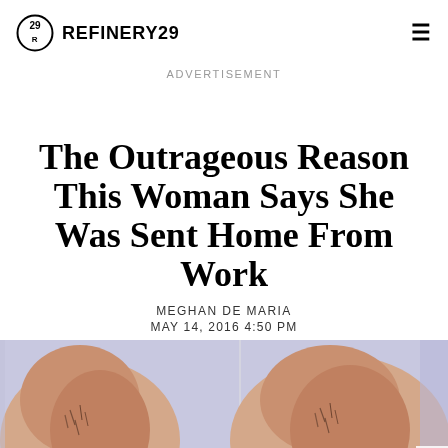REFINERY29
ADVERTISEMENT
The Outrageous Reason This Woman Says She Was Sent Home From Work
MEGHAN DE MARIA
MAY 14, 2016 4:50 PM
[Figure (photo): A close-up photo showing underarm/armpit skin with body hair visible, set against a light purple/blue background. The image appears to be a before/after or comparison style photo showing two views side by side.]